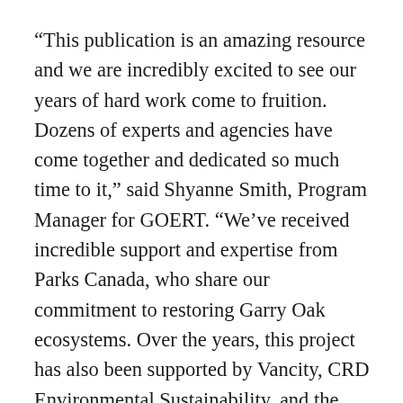“This publication is an amazing resource and we are incredibly excited to see our years of hard work come to fruition. Dozens of experts and agencies have come together and dedicated so much time to it,” said Shyanne Smith, Program Manager for GOERT. “We’ve received incredible support and expertise from Parks Canada, who share our commitment to restoring Garry Oak ecosystems. Over the years, this project has also been supported by Vancity, CRD Environmental Sustainability, and the Government of Canada through the Federal Department of the Environment. Without all this support, this project couldn’t